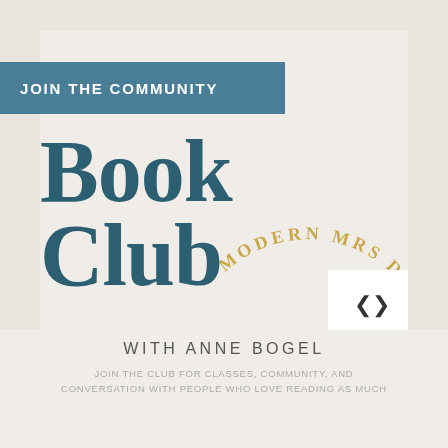JOIN THE COMMUNITY
[Figure (logo): Modern Mrs Darcy Book Club logo — large serif 'Book Club' text in teal/dark blue with gold curved text 'MODERN MRS DARCY' arced above and to the right]
WITH ANNE BOGEL
JOIN THE CLUB FOR CLASSES, COMMUNITY, AND CONVERSATION WITH PEOPLE WHO LOVE READING AS MUCH